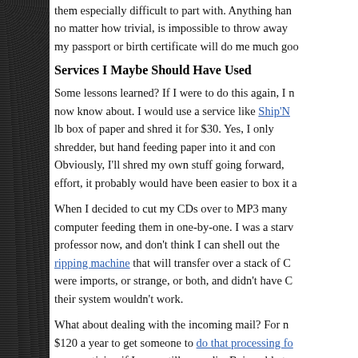them especially difficult to part with. Anything han no matter how trivial, is impossible to throw away my passport or birth certificate will do me much goo
Services I Maybe Should Have Used
Some lessons learned? If I were to do this again, I now know about. I would use a service like Ship'N lb box of paper and shred it for $30. Yes, I only shredder, but hand feeding paper into it and con Obviously, I'll shred my own stuff going forward, effort, it probably would have been easier to box it a
When I decided to cut my CDs over to MP3 many computer feeding them in one-by-one. I was a starv professor now, and don't think I can shell out the ripping machine that will transfer over a stack of C were imports, or strange, or both, and didn't have C their system wouldn't work.
What about dealing with the incoming mail? For n $120 a year to get someone to do that processing fo more enticing if I were still nomadic. Being able to